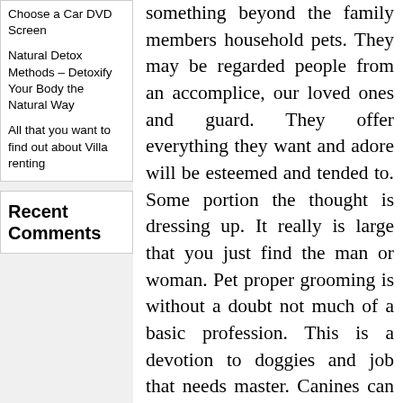Choose a Car DVD Screen
Natural Detox Methods – Detoxify Your Body the Natural Way
All that you want to find out about Villa renting
Recent Comments
something beyond the family members household pets. They may be regarded people from an accomplice, our loved ones and guard. They offer everything they want and adore will be esteemed and tended to. Some portion the thought is dressing up. It really is large that you just find the man or woman. Pet proper grooming is without a doubt not much of a basic profession. This is a devotion to doggies and job that needs master. Canines can identify what type of particular person as demonstrated with what they